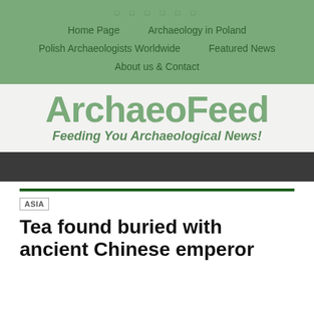□ □ □ □ □ □
Home Page
Archaeology in Poland
Polish Archaeologists Worldwide
Featured News
About us & Contact
ArchaeoFeed
Feeding You Archaeological News!
ASIA
Tea found buried with ancient Chinese emperor